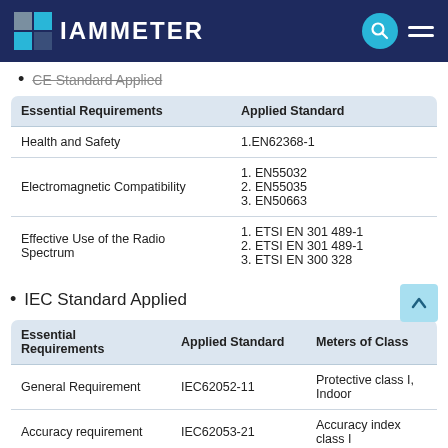IAMMETER
CE Standard Applied
| Essential Requirements | Applied Standard |
| --- | --- |
| Health and Safety | 1.EN62368-1 |
| Electromagnetic Compatibility | 1. EN55032
2. EN55035
3. EN50663 |
| Effective Use of the Radio Spectrum | 1. ETSI EN 301 489-1
2. ETSI EN 301 489-1
3. ETSI EN 300 328 |
IEC Standard Applied
| Essential Requirements | Applied Standard | Meters of Class |
| --- | --- | --- |
| General Requirement | IEC62052-11 | Protective class I, Indoor |
| Accuracy requirement | IEC62053-21 | Accuracy index class I |